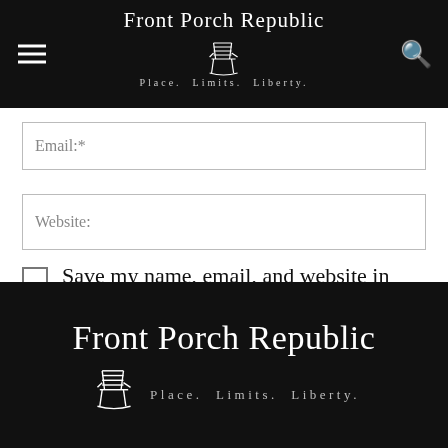Front Porch Republic — Place. Limits. Liberty.
Email:*
Website:
Save my name, email, and website in this browser for the next time I comment.
POST COMMENT
Front Porch Republic — Place. Limits. Liberty.